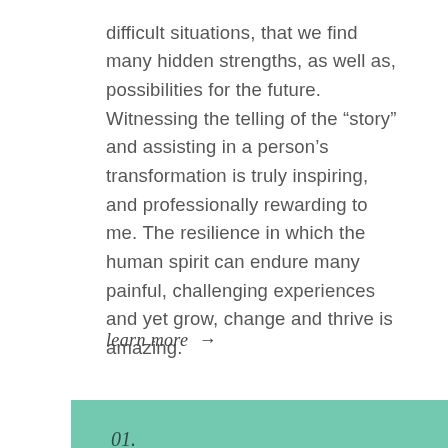difficult situations, that we find many hidden strengths, as well as, possibilities for the future. Witnessing the telling of the “story” and assisting in a person’s transformation is truly inspiring, and professionally rewarding to me. The resilience in which the human spirit can endure many painful, challenging experiences and yet grow, change and thrive is amazing.
learn more →
01.
Individual Psychotherapy